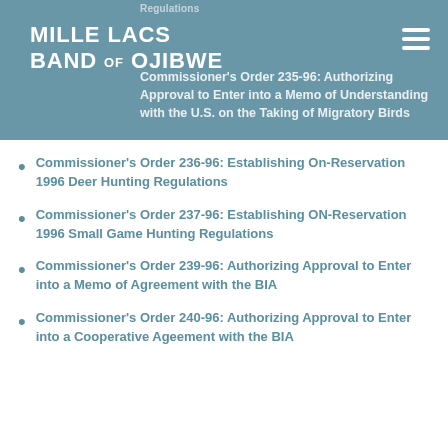Mille Lacs Band of Ojibwe
Commissioner's Order 235-96: Authorizing Approval to Enter into a Memo of Understanding with the U.S. on the Taking of Migratory Birds
Commissioner's Order 236-96: Establishing On-Reservation 1996 Deer Hunting Regulations
Commissioner's Order 237-96: Establishing ON-Reservation 1996 Small Game Hunting Regulations
Commissioner's Order 239-96: Authorizing Approval to Enter into a Memo of Agreement with the BIA
Commissioner's Order 240-96: Authorizing Approval to Enter into a Cooperative Ageement with the BIA